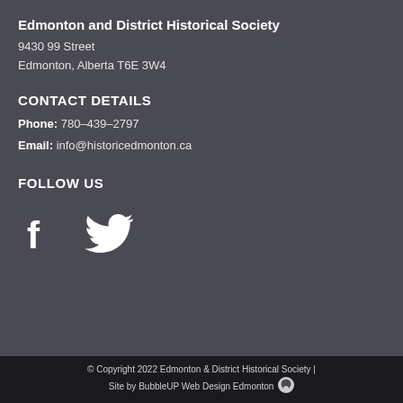Edmonton and District Historical Society
9430 99 Street
Edmonton, Alberta T6E 3W4
CONTACT DETAILS
Phone: 780-439-2797
Email: info@historicedmonton.ca
FOLLOW US
[Figure (illustration): Facebook and Twitter social media icons in white]
© Copyright 2022 Edmonton & District Historical Society | Site by BubbleUP Web Design Edmonton